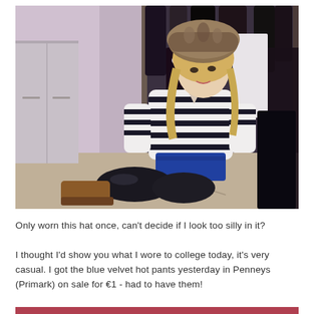[Figure (photo): A young blonde woman sitting on the floor in front of an open wardrobe/closet. She is wearing a striped navy and white top, black shiny leggings, blue velvet hot pants, and brown ankle boots. She has a fur trapper hat on her head. The closet behind her contains various clothes. The room has pink/lavender walls.]
Only worn this hat once, can't decide if I look too silly in it?
I thought I'd show you what I wore to college today, it's very casual. I got the blue velvet hot pants yesterday in Penneys (Primark) on sale for €1 - had to have them!